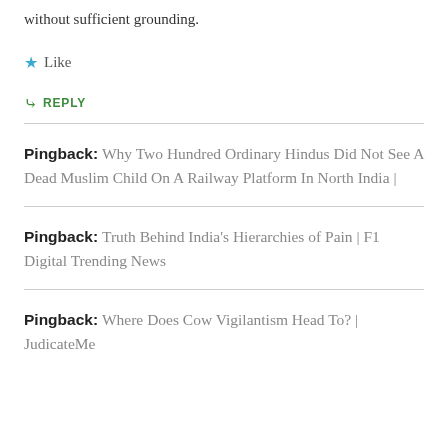without sufficient grounding.
Like
REPLY
Pingback: Why Two Hundred Ordinary Hindus Did Not See A Dead Muslim Child On A Railway Platform In North India |
Pingback: Truth Behind India's Hierarchies of Pain | F1 Digital Trending News
Pingback: Where Does Cow Vigilantism Head To? | JudicateMe